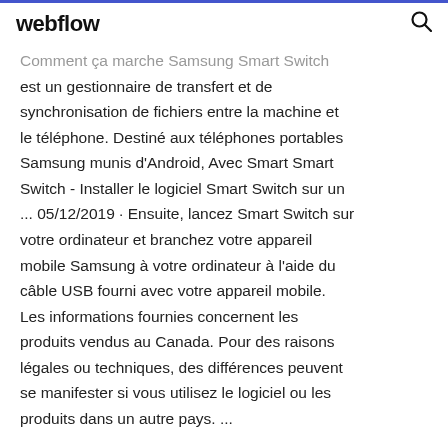webflow
Comment ça marche Samsung Smart Switch est un gestionnaire de transfert et de synchronisation de fichiers entre la machine et le téléphone. Destiné aux téléphones portables Samsung munis d'Android, Avec Smart Smart Switch - Installer le logiciel Smart Switch sur un ... 05/12/2019 · Ensuite, lancez Smart Switch sur votre ordinateur et branchez votre appareil mobile Samsung à votre ordinateur à l'aide du câble USB fourni avec votre appareil mobile. Les informations fournies concernent les produits vendus au Canada. Pour des raisons légales ou techniques, des différences peuvent se manifester si vous utilisez le logiciel ou les produits dans un autre pays. ...